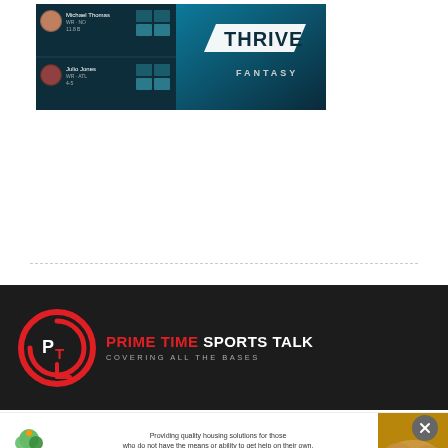[Figure (screenshot): Thrive Fantasy app banner showing player stats interface on left and THRIVE FANTASY logo on teal/dark background on right]
[Figure (logo): Prime Time Sports Talk logo with red circular PT icon and text 'PRIME TIME SPORTS TALK / COVERING ALL THE BASES' on dark background]
[Figure (infographic): Giving Tree Housing advertisement banner with logo, text about providing quality housing solutions, and a hands photo. Includes close (X) button.]